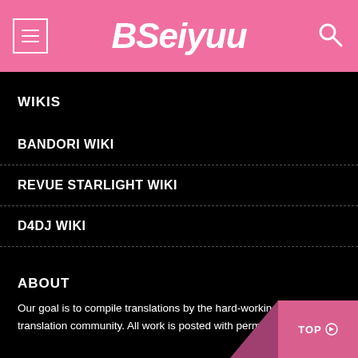BSeiyuu
WIKIS
BANDORI WIKI
REVUE STARLIGHT WIKI
D4DJ WIKI
ABOUT
Our goal is to compile translations by the hard-working translation community. All work is posted with permission